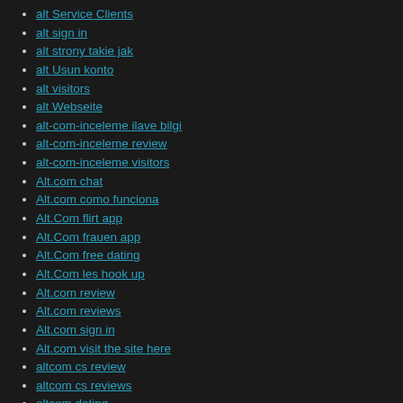alt Service Clients
alt sign in
alt strony takie jak
alt Usun konto
alt visitors
alt Webseite
alt-com-inceleme ilave bilgi
alt-com-inceleme review
alt-com-inceleme visitors
Alt.com chat
Alt.com como funciona
Alt.Com flirt app
Alt.Com frauen app
Alt.Com free dating
Alt.Com les hook up
Alt.com review
Alt.com reviews
Alt.com sign in
Alt.com visit the site here
altcom cs review
altcom cs reviews
altcom dating
altcom de review
altcom de reviews
altcom it reviews